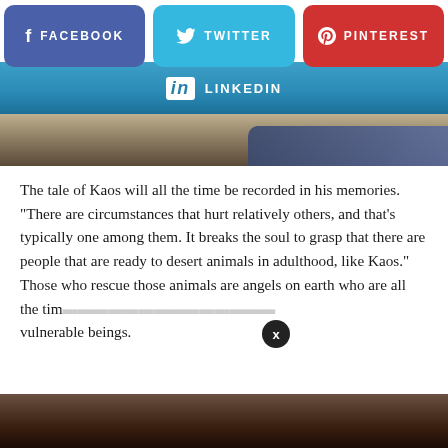[Figure (screenshot): Social media share buttons: Facebook (blue-purple), Twitter (cyan), Pinterest (red), LinkedIn (blue gradient bar)]
[Figure (photo): Partial photo strip showing animal/person scene, top portion cropped]
The tale of Kaos will all the time be recorded in his memories. "There are circumstances that hurt relatively others, and that's typically one among them. It breaks the soul to grasp that there are people that are ready to desert animals in adulthood, like Kaos." Those who rescue those animals are angels on earth who are all the tim... vulnerable beings.
[Figure (screenshot): Popup tooltip with text 'test' in blue and '2 days ago' in gray italic, with close (x) button]
[Figure (photo): Bottom photo strip, dark tones, partially visible animal image]